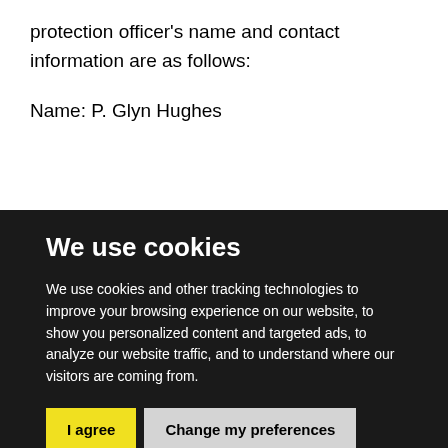protection officer's name and contact information are as follows:
Name: P. Glyn Hughes
We use cookies
We use cookies and other tracking technologies to improve your browsing experience on our website, to show you personalized content and targeted ads, to analyze our website traffic, and to understand where our visitors are coming from.
I agree
Change my preferences